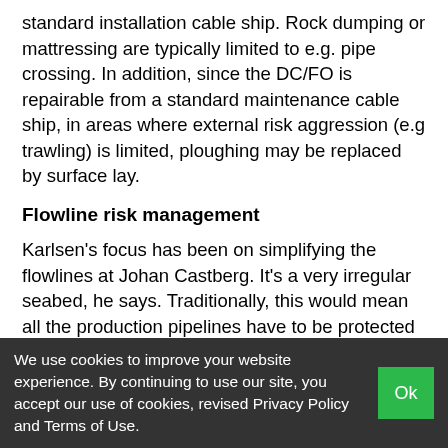standard installation cable ship. Rock dumping or mattressing are typically limited to e.g. pipe crossing. In addition, since the DC/FO is repairable from a standard maintenance cable ship, in areas where external risk aggression (e.g trawling) is limited, ploughing may be replaced by surface lay.
Flowline risk management
Karlsen's focus has been on simplifying the flowlines at Johan Castberg. It's a very irregular seabed, he says. Traditionally, this would mean all the production pipelines have to be protected by rock, which means excavation works and precise rock placement.
We use cookies to improve your website experience. By continuing to use our site, you accept our use of cookies, revised Privacy Policy and Terms of Use.